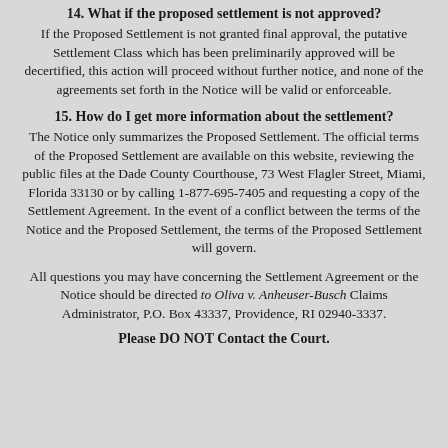14. What if the proposed settlement is not approved?
If the Proposed Settlement is not granted final approval, the putative Settlement Class which has been preliminarily approved will be decertified, this action will proceed without further notice, and none of the agreements set forth in the Notice will be valid or enforceable.
15. How do I get more information about the settlement?
The Notice only summarizes the Proposed Settlement. The official terms of the Proposed Settlement are available on this website, reviewing the public files at the Dade County Courthouse, 73 West Flagler Street, Miami, Florida 33130 or by calling 1-877-695-7405 and requesting a copy of the Settlement Agreement. In the event of a conflict between the terms of the Notice and the Proposed Settlement, the terms of the Proposed Settlement will govern.
All questions you may have concerning the Settlement Agreement or the Notice should be directed to Oliva v. Anheuser-Busch Claims Administrator, P.O. Box 43337, Providence, RI 02940-3337.
Please DO NOT Contact the Court.